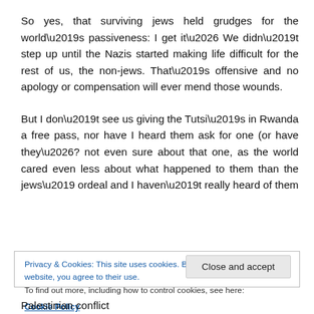So yes, that surviving jews held grudges for the world’s passiveness: I get it… We didn’t step up until the Nazis started making life difficult for the rest of us, the non-jews. That’s offensive and no apology or compensation will ever mend those wounds.
But I don’t see us giving the Tutsi’s in Rwanda a free pass, nor have I heard them ask for one (or have they…? not even sure about that one, as the world cared even less about what happened to them than the jews’ ordeal and I haven’t really heard of them
Privacy & Cookies: This site uses cookies. By continuing to use this website, you agree to their use.
To find out more, including how to control cookies, see here:
Cookie Policy
Palestinian conflict